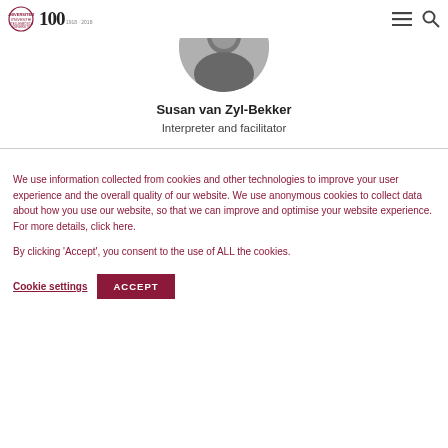Stellenbosch University 100 — navigation and search icons
[Figure (photo): Circular cropped black and white portrait photo of Susan van Zyl-Bekker]
Susan van Zyl-Bekker
Interpreter and facilitator
We use information collected from cookies and other technologies to improve your user experience and the overall quality of our website. We use anonymous cookies to collect data about how you use our website, so that we can improve and optimise your website experience. For more details, click here.
By clicking 'Accept', you consent to the use of ALL the cookies.
Cookie settings   ACCEPT